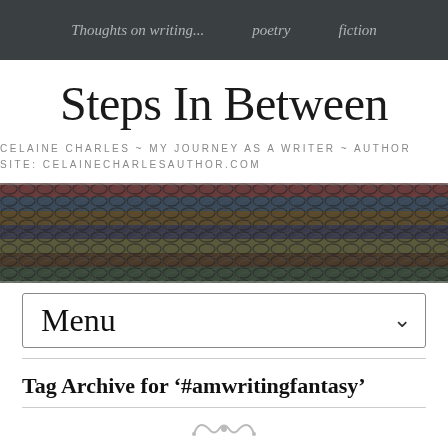Thoughts on writing...   poetry   fiction
Steps In Between
CELAINE CHARLES ~ MY JOURNEY AS A WRITER ~ AUTHOR SITE: CELAINECHARLESAUTHOR.COM
[Figure (photo): Banner image showing rows of colorful stacked rings or discs in blues, reds, and earth tones, viewed from above]
Menu
Tag Archive for '#amwritingfantasy'
[Figure (illustration): Decorative swirl ornament]